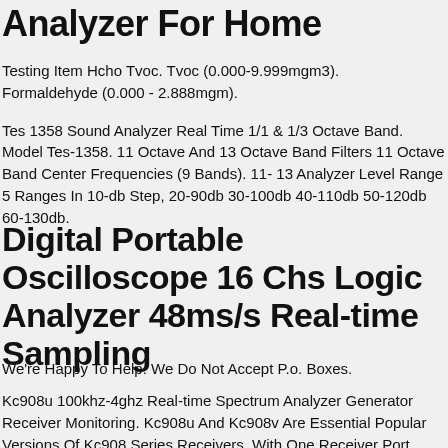Analyzer For Home
Testing Item Hcho Tvoc. Tvoc (0.000-9.999mgm3). Formaldehyde (0.000 - 2.888mgm).
Tes 1358 Sound Analyzer Real Time 1/1 & 1/3 Octave Band. Model Tes-1358. 11 Octave And 13 Octave Band Filters 11 Octave Band Center Frequencies (9 Bands). 11- 13 Analyzer Level Range 5 Ranges In 10-db Step, 20-90db 30-100db 40-110db 50-120db 60-130db.
Digital Portable Oscilloscope 16 Chs Logic Analyzer 48ms/s Real-time Sampling
We're Happy To Help. We Do Not Accept P.o. Boxes.
Kc908u 100khz-4ghz Real-time Spectrum Analyzer Generator Receiver Monitoring. Kc908u And Kc908v Are Essential Popular Versions Of Kc908 Series Receivers, With One Receiver Port